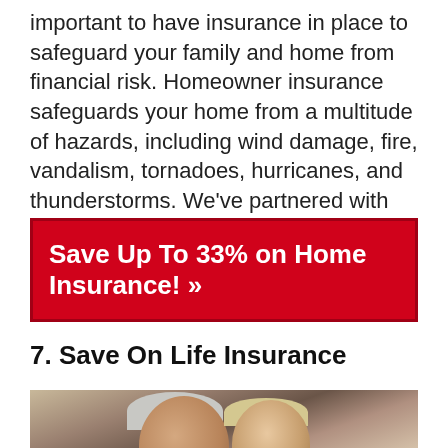important to have insurance in place to safeguard your family and home from financial risk. Homeowner insurance safeguards your home from a multitude of hazards, including wind damage, fire, vandalism, tornadoes, hurricanes, and thunderstorms. We've partnered with one of the top sites to search for reliable homeowners insurance.
Save Up To 33% on Home Insurance! »
7. Save On Life Insurance
[Figure (photo): Photo of an elderly couple looking down together, man with gray hair and woman with blonde/light hair]